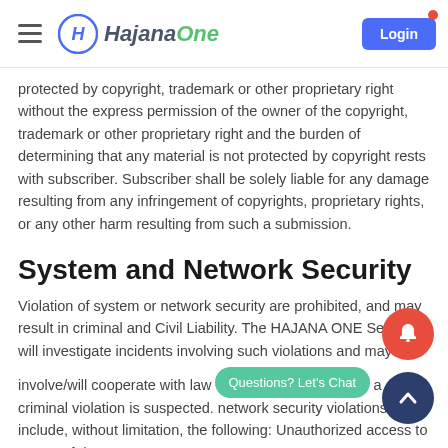HajanaOne — Login
protected by copyright, trademark or other proprietary right without the express permission of the owner of the copyright, trademark or other proprietary right and the burden of determining that any material is not protected by copyright rests with subscriber. Subscriber shall be solely liable for any damage resulting from any infringement of copyrights, proprietary rights, or any other harm resulting from such a submission.
System and Network Security
Violation of system or network security are prohibited, and may result in criminal and Civil Liability. The HAJANA ONE Services will investigate incidents involving such violations and may
involve/will cooperate with law enforcement agencies if a criminal violation is suspected. network security violations include, without limitation, the following: Unauthorized access to or use of data, systems or